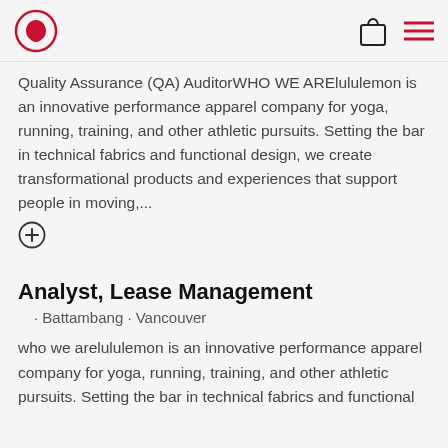lululemon logo, shopping bag icon, menu icon
Quality Assurance (QA) AuditorWHO WE ARElululemon is an innovative performance apparel company for yoga, running, training, and other athletic pursuits. Setting the bar in technical fabrics and functional design, we create transformational products and experiences that support people in moving,...
Analyst, Lease Management
· Battambang · Vancouver
who we arelululemon is an innovative performance apparel company for yoga, running, training, and other athletic pursuits. Setting the bar in technical fabrics and functional